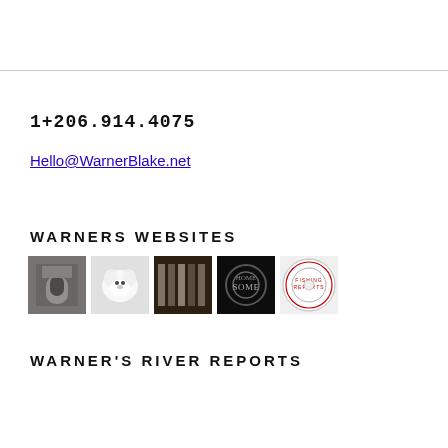1+206.914.4075
Hello@WarnerBlake.net
WARNERS WEBSITES
[Figure (other): Five small website thumbnail images displayed in a row]
WARNER'S RIVER REPORTS